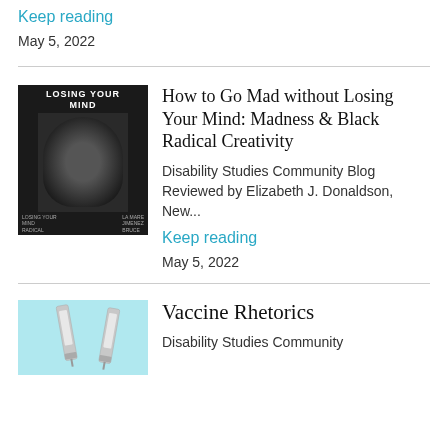Keep reading
May 5, 2022
[Figure (photo): Book cover of 'How to Go Mad without Losing Your Mind' showing a dark figure with text forming a face]
How to Go Mad without Losing Your Mind: Madness & Black Radical Creativity
Disability Studies Community Blog Reviewed by Elizabeth J. Donaldson, New...
Keep reading
May 5, 2022
[Figure (photo): Light blue background with two syringes/vaccines]
Vaccine Rhetorics
Disability Studies Community